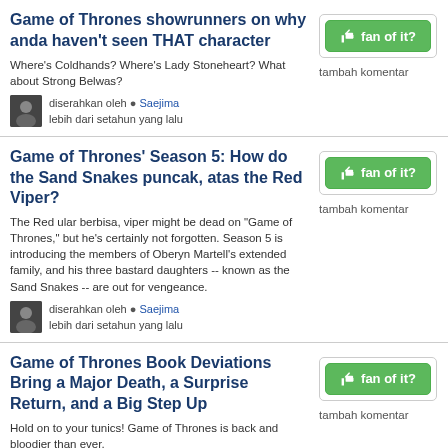Game of Thrones showrunners on why anda haven't seen THAT character
Where's Coldhands? Where's Lady Stoneheart? What about Strong Belwas?
diserahkan oleh • Saejima
lebih dari setahun yang lalu
[Figure (other): Green 'fan of it?' thumbs-up button with tambah komentar link]
Game of Thrones' Season 5: How do the Sand Snakes puncak, atas the Red Viper?
The Red ular berbisa, viper might be dead on "Game of Thrones," but he's certainly not forgotten. Season 5 is introducing the members of Oberyn Martell's extended family, and his three bastard daughters -- known as the Sand Snakes -- are out for vengeance.
diserahkan oleh • Saejima
lebih dari setahun yang lalu
[Figure (other): Green 'fan of it?' thumbs-up button with tambah komentar link]
Game of Thrones Book Deviations Bring a Major Death, a Surprise Return, and a Big Step Up
Hold on to your tunics! Game of Thrones is back and bloodier than ever.
[Figure (other): Green 'fan of it?' thumbs-up button with tambah komentar link]